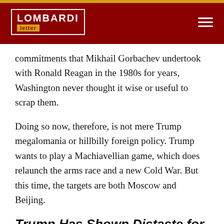Lombardi Letter
commitments that Mikhail Gorbachev undertook with Ronald Reagan in the 1980s for years, Washington never thought it wise or useful to scrap them.
Doing so now, therefore, is not mere Trump megalomania or hillbilly foreign policy. Trump wants to play a Machiavellian game, which does relaunch the arms race and a new Cold War. But this time, the targets are both Moscow and Beijing.
Trump Has Shown Distaste for International Treaties
President Trump also doesn't like to lose. Just as with his logic about trade (the more you export, the better), he wants to see America's defensive and offensive capabilities in